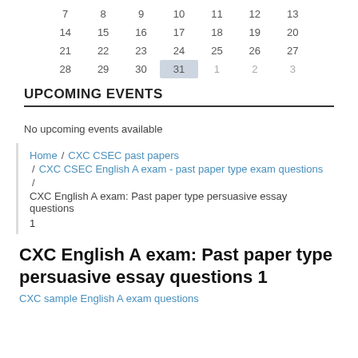| 7 | 8 | 9 | 10 | 11 | 12 | 13 |
| 14 | 15 | 16 | 17 | 18 | 19 | 20 |
| 21 | 22 | 23 | 24 | 25 | 26 | 27 |
| 28 | 29 | 30 | 31 | 1 | 2 | 3 |
UPCOMING EVENTS
No upcoming events available
Home / CXC CSEC past papers / CXC CSEC English A exam - past paper type exam questions / CXC English A exam: Past paper type persuasive essay questions 1
CXC English A exam: Past paper type persuasive essay questions 1
CXC sample English A exam questions